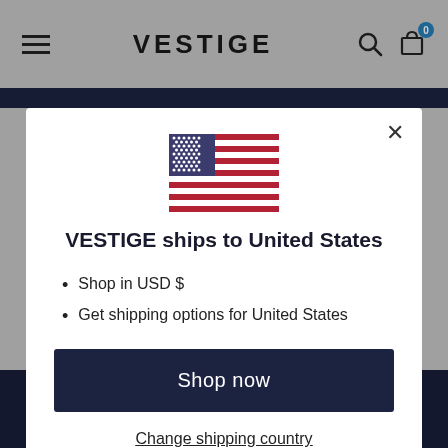VESTIGE
[Figure (screenshot): Modal dialog on VESTIGE e-commerce website showing a US flag, shipping notice, bullet points, and action buttons]
VESTIGE ships to United States
Shop in USD $
Get shipping options for United States
Shop now
Change shipping country